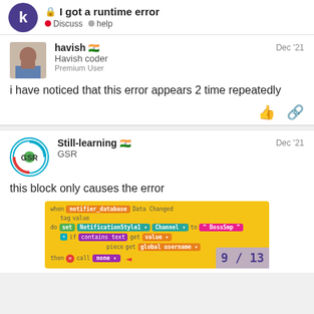I got a runtime error — Discuss • help
havish 🇮🇳
Havish coder
Premium User
Dec '21
i have noticed that this error appears 2 time repeatedly
Still-learning 🇮🇳
GSR
Dec '21
this block only causes the error
[Figure (screenshot): App Inventor block code: when notifier_database Data Changed, tag value, do set NotificationStyle1 Channel to BossSmp, if contains text get value piece get global username, then call none with red arrow pointing to none block]
9 / 13